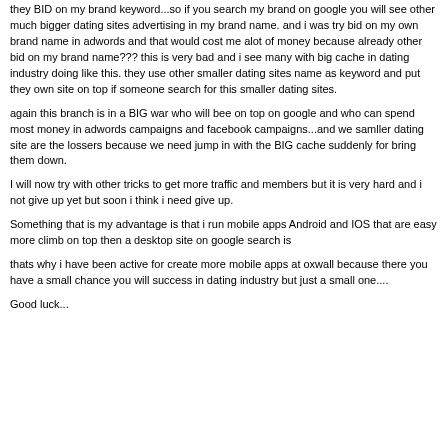they BID on my brand keyword...so if you search my brand on google you will see other much bigger dating sites advertising in my brand name. and i was try bid on my own brand name in adwords and that would cost me alot of money because already other bid on my brand name??? this is very bad and i see many with big cache in dating industry doing like this. they use other smaller dating sites name as keyword and put they own site on top if someone search for this smaller dating sites.
again this branch is in a BIG war who will bee on top on google and who can spend most money in adwords campaigns and facebook campaigns...and we samller dating site are the lossers because we need jump in with the BIG cache suddenly for bring them down.
I will now try with other tricks to get more traffic and members but it is very hard and i not give up yet but soon i think i need give up.
Something that is my advantage is that i run mobile apps Android and IOS that are easy more climb on top then a desktop site on google search is
thats why i have been active for create more mobile apps at oxwall because there you have a small chance you will success in dating industry but just a small one....
Good luck...